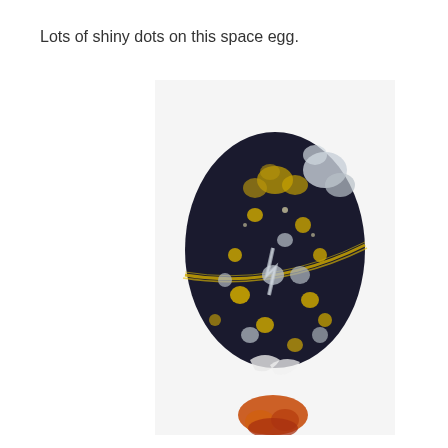Lots of shiny dots on this space egg.
[Figure (photo): A dark navy/black decorative egg covered with shiny gold and silver glitter dots and floral decorations, with a gold glitter trim band around the middle. White decorative elements near the top and bottom. The egg sits on an orange base. Background is white.]